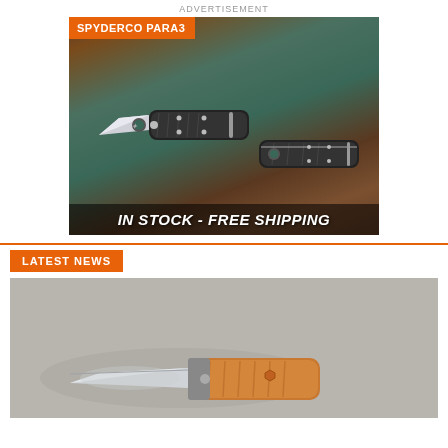ADVERTISEMENT
[Figure (photo): Advertisement for Spyderco Para3 knife. Shows two folding knives (one open, one closed) on a weathered copper/stone background. Badge reads 'SPYDERCO PARA3'. Bottom text reads 'IN STOCK - FREE SHIPPING'.]
LATEST NEWS
[Figure (photo): News section photo showing a folding knife with orange/tan handle scales on a gray background.]